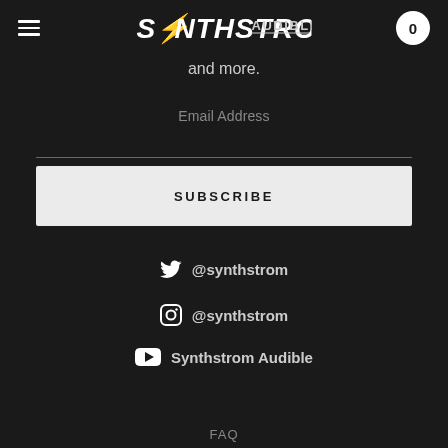Synthstrom Audible — navigation header with hamburger menu and cart (0)
and more.
Email Address
SUBSCRIBE
@synthstrom (Twitter)
@synthstrom (Instagram)
Synthstrom Audible (YouTube)
FAQ